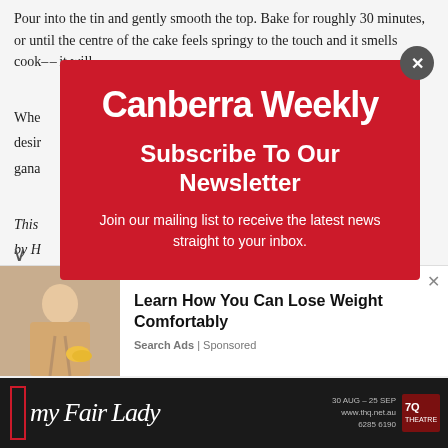Pour into the tin and gently smooth the top. Bake for roughly 30 minutes, or until the centre of the cake feels springy to the touch and it smells cook– – it will …
Whe… desir… gana…
This … …ed by H…
For …
[Figure (infographic): Canberra Weekly newsletter subscription modal popup with red background. Contains 'Canberra Weekly' logo, 'Subscribe To Our Newsletter' heading, and text 'Join our mailing list to receive the latest news straight to your inbox.' with a close button (X) in the top right corner.]
[Figure (infographic): Sponsored advertisement: 'Learn How You Can Lose Weight Comfortably' from Search Ads | Sponsored, with a stock photo of people holding hands on the left side, and a close X button.]
[Figure (infographic): My Fair Lady theatre advertisement banner with dark background: '30 AUG – 25 SEP www.thq.net.au 6285 6190' with Q Theatre logo.]